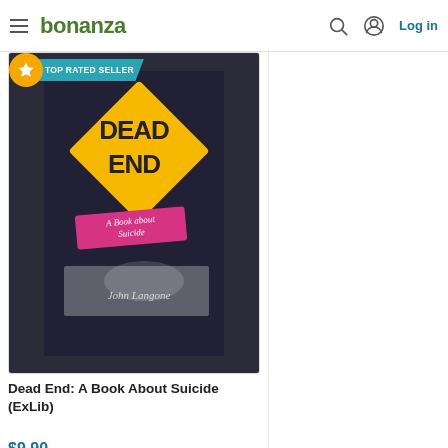bonanza — Log in
[Figure (photo): Book cover photo of 'Dead End: A Book About Suicide' by John Langone, displayed on dark background. A Top Rated Seller badge is overlaid in the top-left corner. The cover features a yellow diamond-shaped road sign with 'DEAD END' text, a pink ribbon reading 'A Book about Suicide', and the author's name in silver text.]
Dead End: A Book About Suicide (ExLib)
$9.90
[Figure (photo): Partial view of a second product card showing books with visible text 'IN' and 'INDIE HEART' on covers, placed on a light surface.]